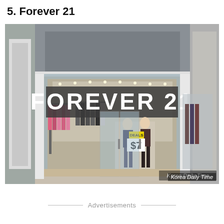5. Forever 21
[Figure (photo): Exterior storefront of a Forever 21 retail store in a shopping mall. Large glass facade with illuminated white 'FOREVER 21' sign. Inside the store, clothing racks are visible along with mannequins and a deals sign showing $7. A watermark reads 'Korea Daily Time'.]
Advertisements